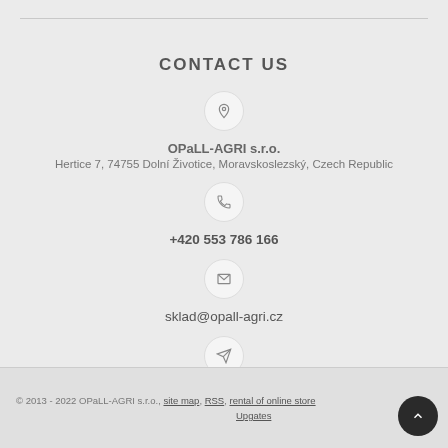CONTACT US
OPaLL-AGRI s.r.o.
Hertice 7, 74755 Dolní Životice, Moravskoslezský, Czech Republic
+420 553 786 166
sklad@opall-agri.cz
Quick contact
© 2013 - 2022 OPaLL-AGRI s.r.o., site map, RSS, rental of online store Upgates